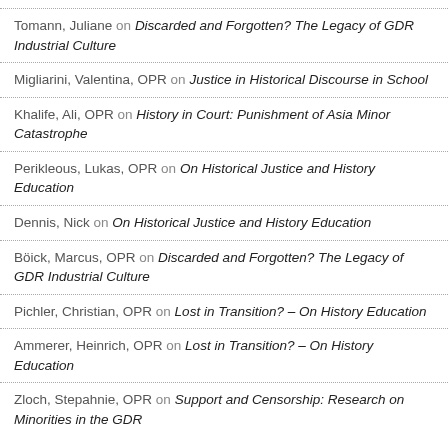Tomann, Juliane on Discarded and Forgotten? The Legacy of GDR Industrial Culture
Migliarini, Valentina, OPR on Justice in Historical Discourse in School
Khalife, Ali, OPR on History in Court: Punishment of Asia Minor Catastrophe
Perikleous, Lukas, OPR on On Historical Justice and History Education
Dennis, Nick on On Historical Justice and History Education
Böick, Marcus, OPR on Discarded and Forgotten? The Legacy of GDR Industrial Culture
Pichler, Christian, OPR on Lost in Transition? – On History Education
Ammerer, Heinrich, OPR on Lost in Transition? – On History Education
Zloch, Stepahnie, OPR on Support and Censorship: Research on Minorities in the GDR